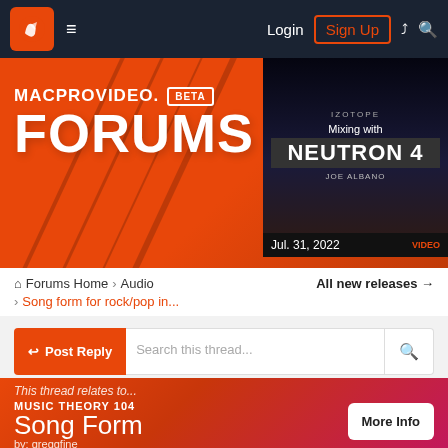Login  Sign Up
[Figure (screenshot): MacProVideo Forums banner with orange gradient background, BETA badge, and iZotope Mixing with Neutron 4 advertisement]
Forums Home > Audio   All new releases →
> Song form for rock/pop in...
↩ Post Reply   Search this thread...
4 posts
This thread relates to...
MUSIC THEORY 104
Song Form
by: greggfine
More Info